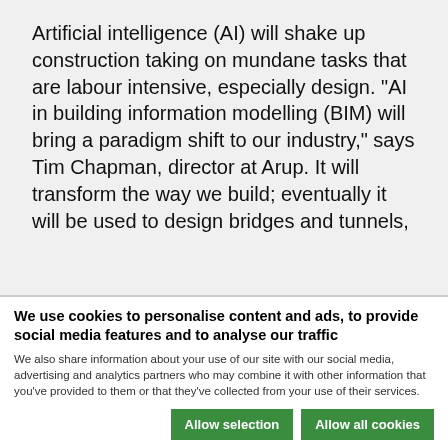Artificial intelligence (AI) will shake up construction taking on mundane tasks that are labour intensive, especially design. “AI in building information modelling (BIM) will bring a paradigm shift to our industry,” says Tim Chapman, director at Arup. It will transform the way we build; eventually it will be used to design bridges and tunnels,
We use cookies to personalise content and ads, to provide social media features and to analyse our traffic
We also share information about your use of our site with our social media, advertising and analytics partners who may combine it with other information that you’ve provided to them or that they’ve collected from your use of their services.
Allow selection | Allow all cookies
Necessary [checked]  Preferences [unchecked]  Statistics [checked]  Marketing [unchecked]  Show details